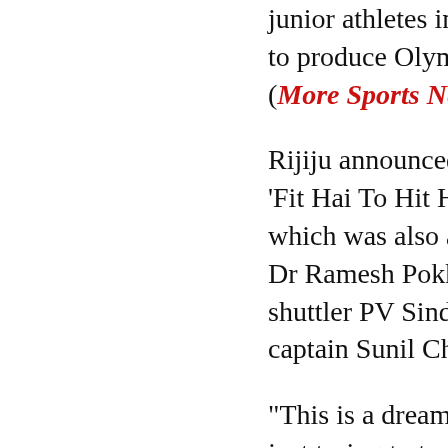junior athletes in the country with an aim to produce Olympic champions by 2028. (More Sports News)
Rijiju announced the decision during the 'Fit Hai To Hit Hai Fit India' webinar which was also attended by HRD minister Dr Ramesh Pokhriyal, Olympic medallist shuttler PV Sindhu and India football captain Sunil Chhetri.
"This is a dream of every Indian and I am just trying to translate it into a